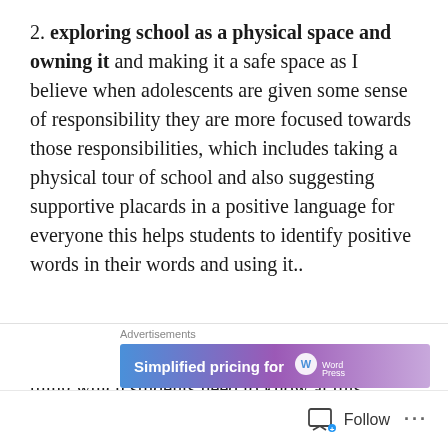2. exploring school as a physical space and owning it and making it a safe space as I believe when adolescents are given some sense of responsibility they are more focused towards those responsibilities, which includes taking a physical tour of school and also suggesting supportive placards in a positive language for everyone this helps students to identify positive words in their words and using it..
3. Understanding our actions: this is one thing which students need to know at this age as their actions are quite impulsive when they are in stage
[Figure (other): Advertisement banner: 'Simplified pricing for' with WordPress logo, with a close (X) button overlay]
Follow ...